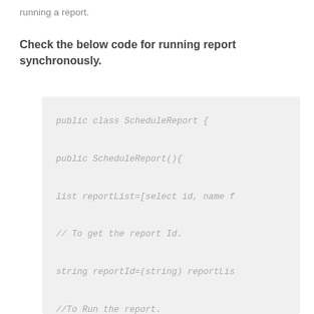running a report.
Check the below code for running report synchronously.
[Figure (screenshot): Code block showing Apex/Java code for running a report synchronously, including class definition, constructor, list query, comment about getting report Id, string assignment, comment about running the report, and ReportResults variable declaration.]